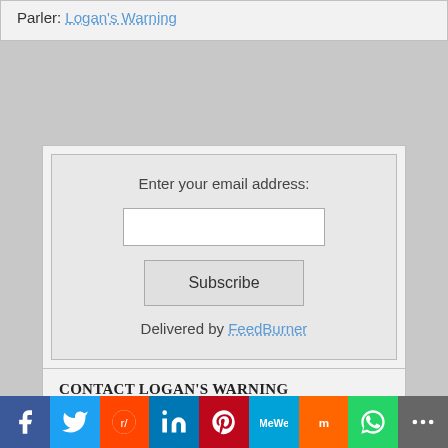Parler: Logan's Warning
[Figure (infographic): Email subscription widget with text 'Enter your email address:', an input field, Subscribe button, and 'Delivered by FeedBurner' link]
CONTACT LOGAN'S WARNING
Your name
[Figure (infographic): Social media share bar with icons for Facebook, Twitter, Reddit, LinkedIn, Pinterest, MeWe, Mix, WhatsApp, and More]